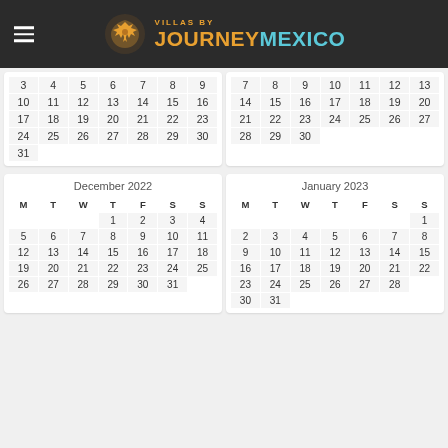Villas by Journey Mexico
[Figure (other): Partial calendar rows for October/November 2022 (top portion cut off, showing rows with dates 3-31 and 7-30)]
| M | T | W | T | F | S | S |
| --- | --- | --- | --- | --- | --- | --- |
|  |  |  | 1 | 2 | 3 | 4 |
| 5 | 6 | 7 | 8 | 9 | 10 | 11 |
| 12 | 13 | 14 | 15 | 16 | 17 | 18 |
| 19 | 20 | 21 | 22 | 23 | 24 | 25 |
| 26 | 27 | 28 | 29 | 30 | 31 |  |
| M | T | W | T | F | S | S |
| --- | --- | --- | --- | --- | --- | --- |
|  |  |  |  |  |  | 1 |
| 2 | 3 | 4 | 5 | 6 | 7 | 8 |
| 9 | 10 | 11 | 12 | 13 | 14 | 15 |
| 16 | 17 | 18 | 19 | 20 | 21 | 22 |
| 23 | 24 | 25 | 26 | 27 | 28 | 29 |
| 30 | 31 |  |  |  |  |  |